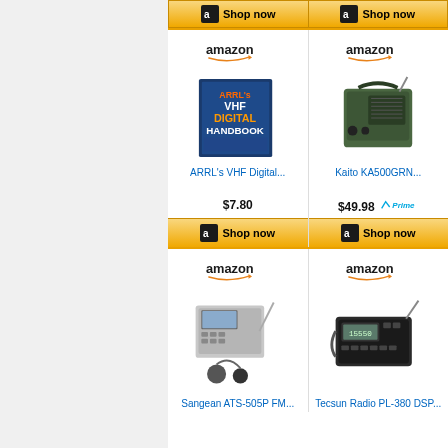[Figure (screenshot): Amazon product listing page showing radio equipment and books. Top row shows two 'Shop now' buttons (cut off). Second row shows ARRL VHF Digital Handbook at $7.80 and Kaito KA500GRN at $49.98 (Prime). Third row shows Sangean ATS-505P FM and Tecsun Radio PL-380 DSP (prices cut off).]